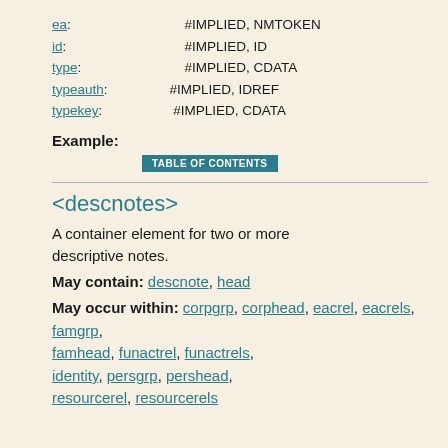ea: #IMPLIED, NMTOKEN
id: #IMPLIED, ID
type: #IMPLIED, CDATA
typeauth: #IMPLIED, IDREF
typekey: #IMPLIED, CDATA
Example:
TABLE OF CONTENTS
<descnotes>
A container element for two or more descriptive notes.
May contain: descnote, head
May occur within: corpgrp, corphead, eacrel, eacrels, famgrp, famhead, funactrel, funactrels, identity, persgrp, pershead, resourcerel, resourcerels